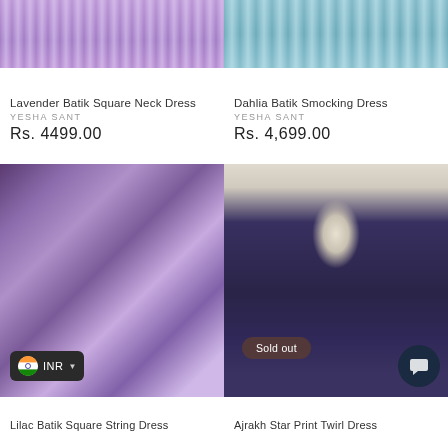[Figure (photo): Top portion of a lavender/purple batik fabric dress with ruffled texture, cropped view]
[Figure (photo): Top portion of a teal/blue batik smocking dress with ruffled texture, cropped view]
Lavender Batik Square Neck Dress
YESHA SANT
Rs. 4499.00
Dahlia Batik Smocking Dress
YESHA SANT
Rs. 4,699.00
[Figure (photo): Woman wearing a lilac/purple batik square string dress with puffed sleeves and smocked bodice, dark curly hair]
[Figure (photo): Navy blue Ajrakh star print twirl dress on a hanger against white wall, with 'Sold out' badge]
Lilac Batik Square String Dress
Ajrakh Star Print Twirl Dress